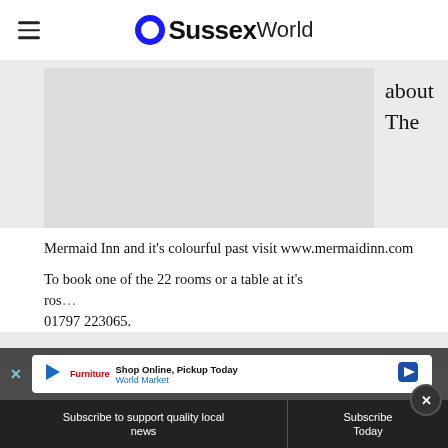OSussexWorld
[Figure (photo): Partially visible image placeholder (grey rectangle) with partial article text visible to the right: 'about' and 'The']
Mermaid Inn and it's colourful past visit www.mermaidinn.com
To book one of the 22 rooms or a table at it's ros... 01797 223065.
[Figure (screenshot): Advertisement overlay: 'Shop Online, Pickup Today - World Market' with blue close X and navigation arrow icon]
Subscribe to support quality local news | Subscribe Today